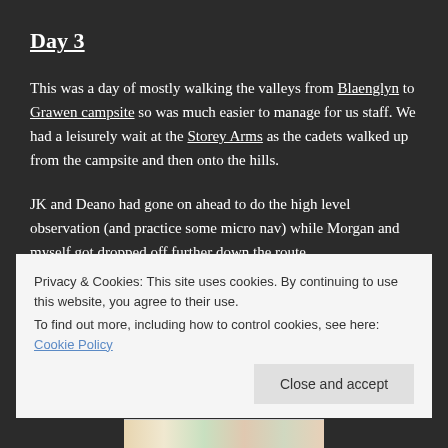Day 3
This was a day of mostly walking the valleys from Blaenglyn to Grawen campsite so was much easier to manage for us staff. We had a leisurely wait at the Storey Arms as the cadets walked up from the campsite and then onto the hills.
JK and Deano had gone on ahead to do the high level observation (and practice some micro nav) while Morgan and myself got dropped off further down the route.
Privacy & Cookies: This site uses cookies. By continuing to use this website, you agree to their use.
To find out more, including how to control cookies, see here: Cookie Policy
[Figure (map): Partial view of a topographic map strip at the bottom of the page]